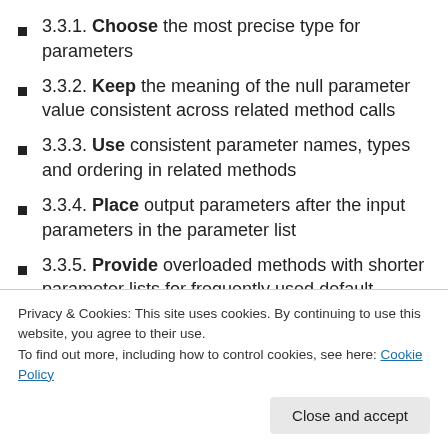3.3.1. Choose the most precise type for parameters
3.3.2. Keep the meaning of the null parameter value consistent across related method calls
3.3.3. Use consistent parameter names, types and ordering in related methods
3.3.4. Place output parameters after the input parameters in the parameter list
3.3.5. Provide overloaded methods with shorter parameter lists for frequently used default parameter values
3.3.6. Use overloaded methods for operations with the
Privacy & Cookies: This site uses cookies. By continuing to use this website, you agree to their use.
To find out more, including how to control cookies, see here: Cookie Policy
return values